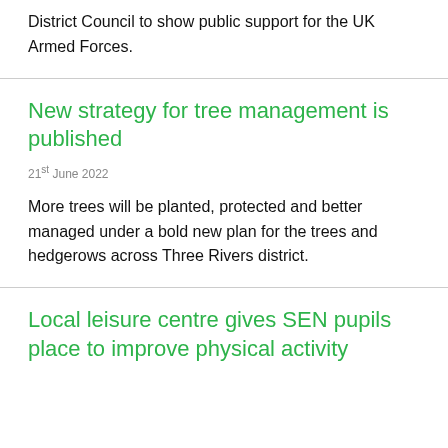District Council to show public support for the UK Armed Forces.
New strategy for tree management is published
21st June 2022
More trees will be planted, protected and better managed under a bold new plan for the trees and hedgerows across Three Rivers district.
Local leisure centre gives SEN pupils place to improve physical activity